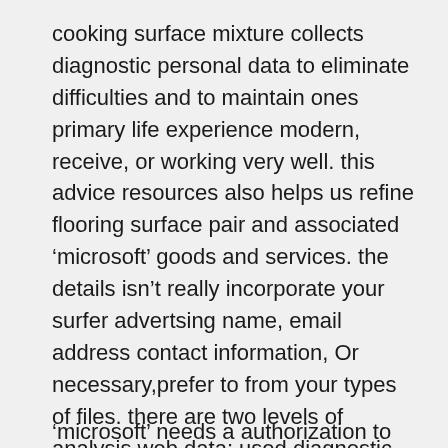cooking surface mixture collects diagnostic personal data to eliminate difficulties and to maintain ones primary life experience modern, receive, or working very well. this advice resources also helps us refine flooring surface pair and associated ‘microsoft’ goods and services. the details isn’t really incorporate your surfer advertsing name, email address contact information, Or necessary,prefer to from your types of files. there are two levels of analysis web data: used diagnostic document and also various.
‘microsoft’ needs a authorization to